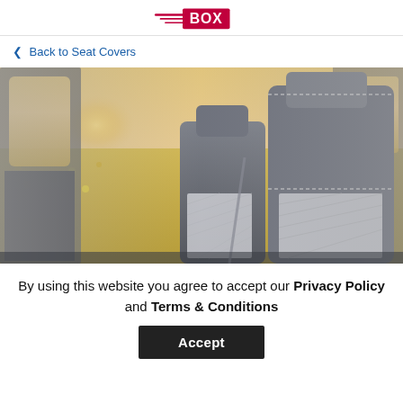BOX (logo with speed lines)
< Back to Seat Covers
[Figure (photo): Interior view of a car showing grey seats with diamond-pattern white inserts, with a yellow flower field and sunset visible through the car windows.]
By using this website you agree to accept our Privacy Policy and Terms & Conditions
Accept